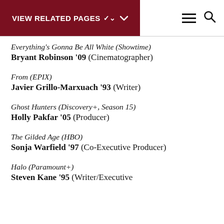VIEW RELATED PAGES
Everything's Gonna Be All White (Showtime) — Bryant Robinson '09 (Cinematographer)
From (EPIX) — Javier Grillo-Marxuach '93 (Writer)
Ghost Hunters (Discovery+, Season 15) — Holly Pakfar '05 (Producer)
The Gilded Age (HBO) — Sonja Warfield '97 (Co-Executive Producer)
Halo (Paramount+) — Steven Kane '95 (Writer/Executive